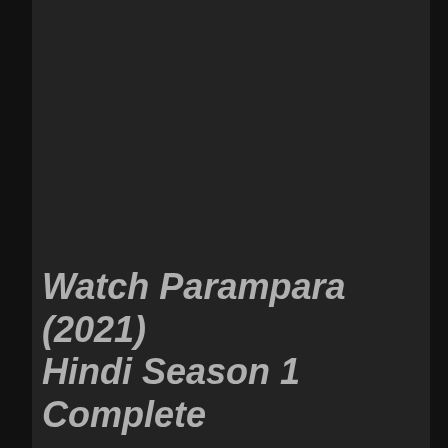[Figure (screenshot): Dark background screenshot, mostly black/dark gray with subtle texture, serving as a backdrop for a video thumbnail.]
Watch Parampara (2021) Hindi Season 1 Complete